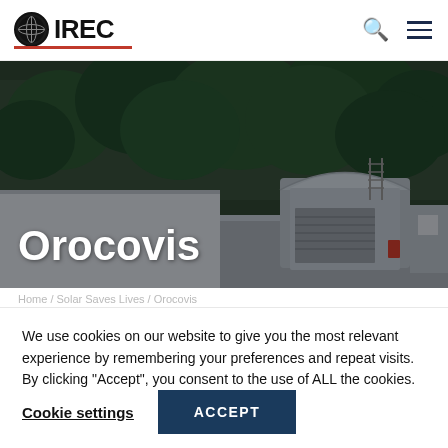IREC
[Figure (photo): Orocovis rooftop installation with a curved metal structure, solar/energy equipment, and dense green trees in the background. White walls and equipment visible on the flat roof.]
Orocovis
Home / Solar Saves Lives / Orocovis
We use cookies on our website to give you the most relevant experience by remembering your preferences and repeat visits. By clicking “Accept”, you consent to the use of ALL the cookies.
Cookie settings  ACCEPT